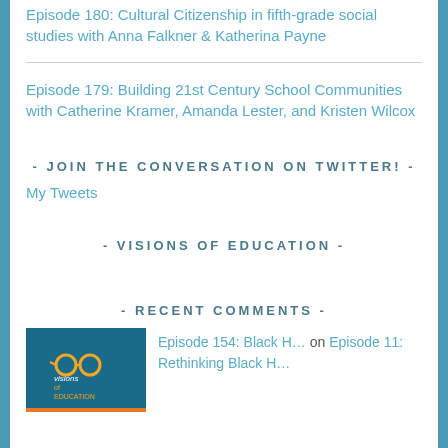Episode 180: Cultural Citizenship in fifth-grade social studies with Anna Falkner & Katherina Payne
Episode 179: Building 21st Century School Communities with Catherine Kramer, Amanda Lester, and Kristen Wilcox
- JOIN THE CONVERSATION ON TWITTER! -
My Tweets
- VISIONS OF EDUCATION -
- RECENT COMMENTS -
Episode 154: Black H… on Episode 11: Rethinking Black H…